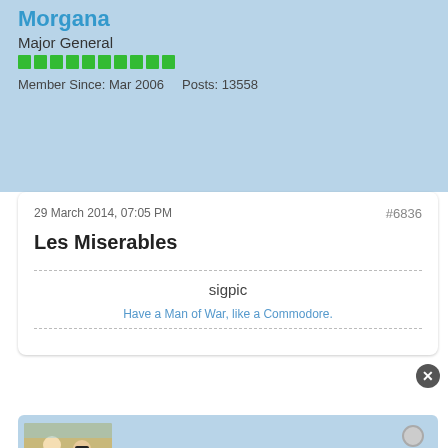Morgana
Major General
Member Since: Mar 2006   Posts: 13558
29 March 2014, 07:05 PM
#6836
Les Miserables
sigpic
Have a Man of War, like a Commodore.
[Figure (photo): Avatar image showing two illustrated figures, one in a light suit and one in a dark suit with sunglasses]